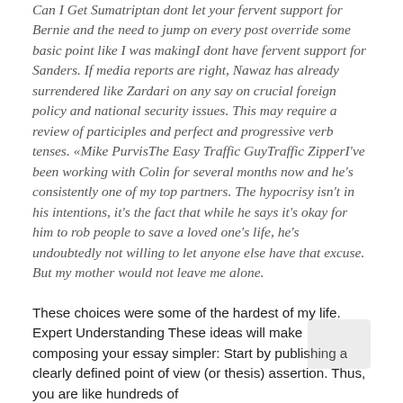Can I Get Sumatriptan dont let your fervent support for Bernie and the need to jump on every post override some basic point like I was makingI dont have fervent support for Sanders. If media reports are right, Nawaz has already surrendered like Zardari on any say on crucial foreign policy and national security issues. This may require a review of participles and perfect and progressive verb tenses. «Mike PurvisThe Easy Traffic GuyTraffic ZipperI've been working with Colin for several months now and he's consistently one of my top partners. The hypocrisy isn't in his intentions, it's the fact that while he says it's okay for him to rob people to save a loved one's life, he's undoubtedly not willing to let anyone else have that excuse. But my mother would not leave me alone.
These choices were some of the hardest of my life. Expert Understanding These ideas will make composing your essay simpler: Start by publishing a clearly defined point of view (or thesis) assertion. Thus, you are like hundreds of